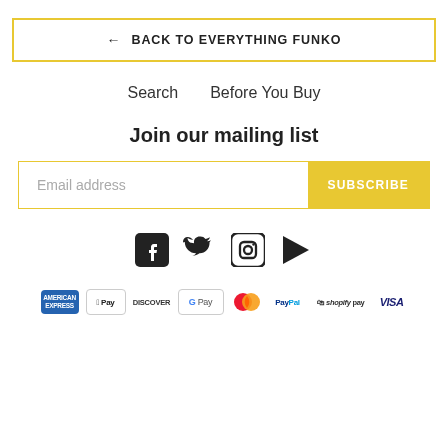← BACK TO EVERYTHING FUNKO
Search   Before You Buy
Join our mailing list
Email address   SUBSCRIBE
[Figure (other): Social media icons: Facebook, Twitter, Instagram, YouTube]
[Figure (other): Payment method logos: American Express, Apple Pay, Discover, Google Pay, Mastercard, PayPal, Shopify Pay, Visa]